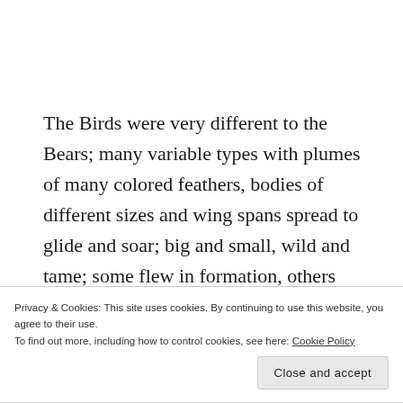The Birds were very different to the Bears; many variable types with plumes of many colored feathers, bodies of different sizes and wing spans spread to glide and soar; big and small, wild and tame; some flew in formation, others lived as family units, others fought their own battles, while many twittered happily over the garden wall. They all sang beautiful and creative songs.
Privacy & Cookies: This site uses cookies. By continuing to use this website, you agree to their use. To find out more, including how to control cookies, see here: Cookie Policy
Close and accept
Previous